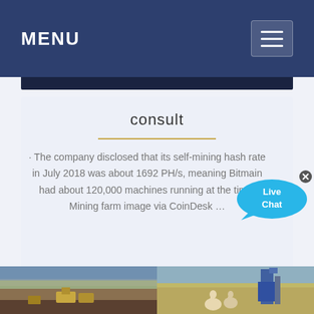MENU
consult
· The company disclosed that its self-mining hash rate in July 2018 was about 1692 PH/s, meaning Bitmain had about 120,000 machines running at the time. Mining farm image via CoinDesk …
[Figure (photo): Mining farm landscape photos: left shows open-pit mining with heavy equipment, right shows industrial facility with animals (llamas) in foreground]